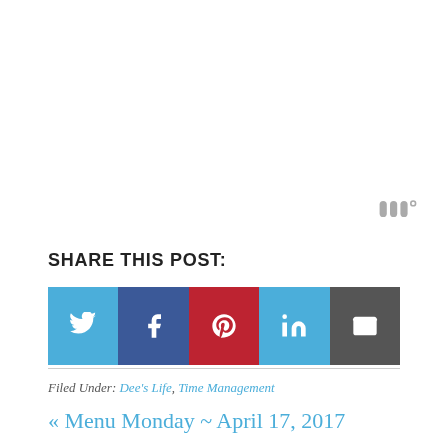[Figure (logo): Tailwind scheduling app logo icon — three grey vertical bar shapes with a degree symbol]
SHARE THIS POST:
[Figure (infographic): Row of five social share buttons: Twitter (blue), Facebook (dark blue), Pinterest (red), LinkedIn (light blue), Email (dark grey), each with white icon]
Filed Under: Dee's Life, Time Management
« Menu Monday ~ April 17, 2017